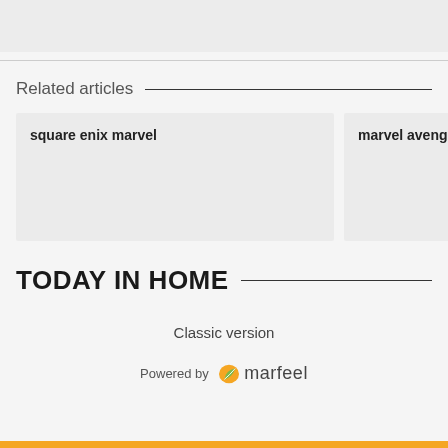[Figure (other): Gray placeholder box at top]
Related articles
square enix marvel
marvel avenge
TODAY IN HOME
Classic version
Powered by marfeel